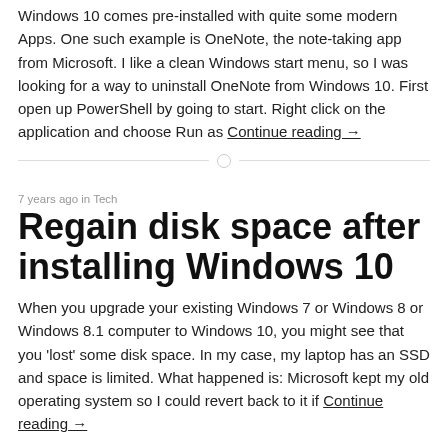Windows 10 comes pre-installed with quite some modern Apps. One such example is OneNote, the note-taking app from Microsoft. I like a clean Windows start menu, so I was looking for a way to uninstall OneNote from Windows 10. First open up PowerShell by going to start. Right click on the application and choose Run as Continue reading →
7 years ago in Tech
Regain disk space after installing Windows 10
When you upgrade your existing Windows 7 or Windows 8 or Windows 8.1 computer to Windows 10, you might see that you 'lost' some disk space. In my case, my laptop has an SSD and space is limited. What happened is: Microsoft kept my old operating system so I could revert back to it if Continue reading →